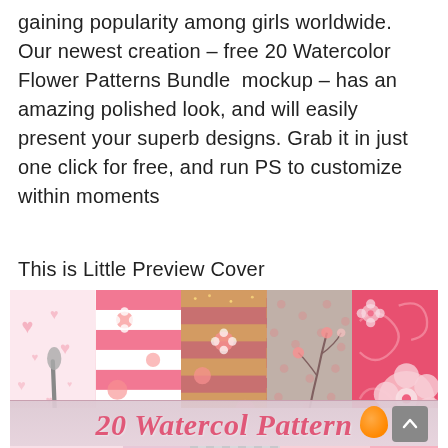gaining popularity among girls worldwide. Our newest creation – free 20 Watercolor Flower Patterns Bundle  mockup – has an amazing polished look, and will easily present your superb designs. Grab it in just one click for free, and run PS to customize within moments
This is Little Preview Cover
[Figure (illustration): A banner/mockup image showing five overlapping pattern cards fanned out, each featuring pink floral watercolor patterns (cherry blossoms, stripes, glitter textures, polka dots, and swirl designs). A title banner reads '20 Watercol Pattern' in pink italic script on a grey-pink background strip. Below is a partial preview strip of more pattern cards.]